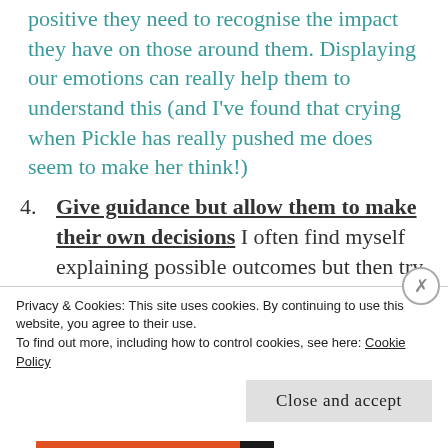positive they need to recognise the impact they have on those around them. Displaying our emotions can really help them to understand this (and I've found that crying when Pickle has really pushed me does seem to make her think!)
4. Give guidance but allow them to make their own decisions I often find myself explaining possible outcomes but then try to back off so the Ps can make their own choices. Even little Piccalilli at 2-and-a-half is able to make her own decisions, often resulting in the weirdest outfit combinations (a dress with Poppet's skirt over
Privacy & Cookies: This site uses cookies. By continuing to use this website, you agree to their use.
To find out more, including how to control cookies, see here: Cookie Policy
Close and accept